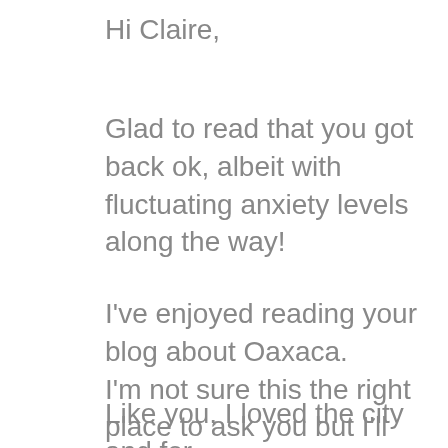Hi Claire,
Glad to read that you got back ok, albeit with fluctuating anxiety levels along the way!
I've enjoyed reading your blog about Oaxaca.
I'm not sure this the right place to ask you but I'll give it a go anyway.
Like you, I loved the city and for